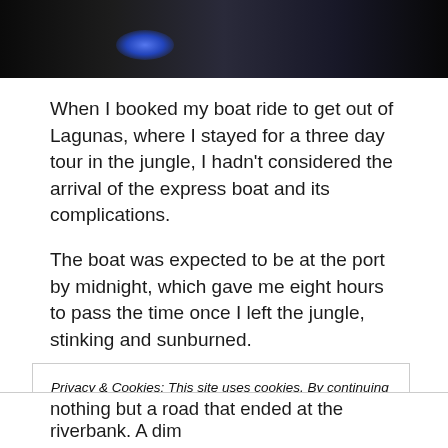[Figure (photo): Dark photo, partially visible, showing a dimly lit scene with a blue light glow on the left side against a very dark background.]
When I booked my boat ride to get out of Lagunas, where I stayed for a three day tour in the jungle, I hadn't considered the arrival of the express boat and its complications.
The boat was expected to be at the port by midnight, which gave me eight hours to pass the time once I left the jungle, stinking and sunburned.
I booked a night at the nearby hostel, had a shower,
Privacy & Cookies: This site uses cookies. By continuing to use this website, you agree to their use.
To find out more, including how to control cookies, see here: Cookie Policy
Close and accept
nothing but a road that ended at the riverbank. A dim